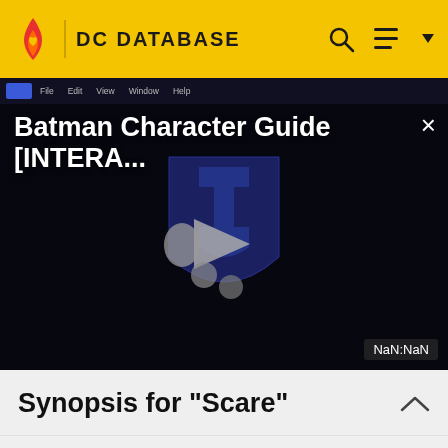DC DATABASE
[Figure (screenshot): Video player showing 'Batman Character Guide [INTERA...' with a play button icon in the center and NaN:NaN time indicator in the bottom right corner. The player has a dark interface with a close (×) button in the top right.]
Synopsis for "Scare"
Appearing in "Scare"